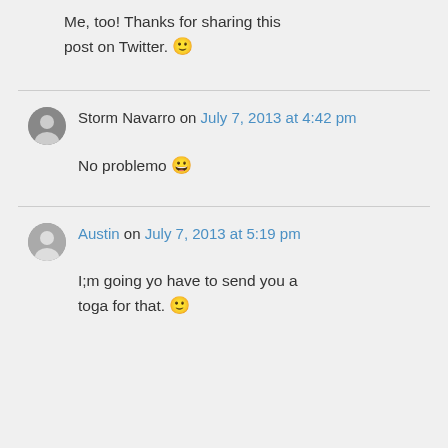Me, too! Thanks for sharing this post on Twitter. 🙂
Storm Navarro on July 7, 2013 at 4:42 pm
No problemo 😀
Austin on July 7, 2013 at 5:19 pm
I;m going yo have to send you a toga for that. 🙂